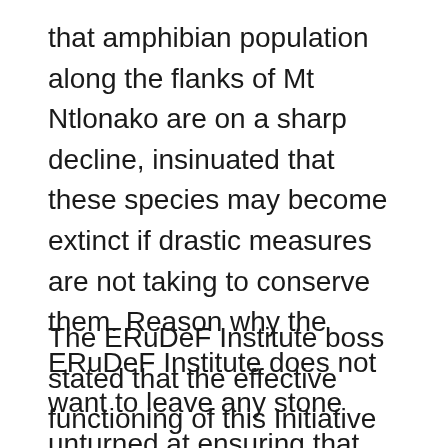that amphibian population along the flanks of Mt Ntlonako are on a sharp decline, insinuated that these species may become extinct if drastic measures are not taking to conserve them. Reason why the ERuDeF Institute does not want to leave any stone unturned at ensuring that these wildlife species are conserved,” she said.
The ERuDeF Institute boss stated that the effective functioning of this Initiative will aid in reducing the rate of amphibians